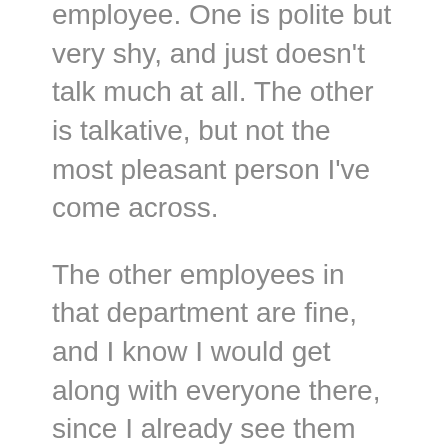employee.  One is  polite but very shy, and just doesn't talk much at all.   The other is talkative, but not the most pleasant person I've come across.
The other employees in that department are fine, and I know I would get along with everyone there, since I already see them every day and we know each other.   It just wouldn't be the same as working with the circulation staff.
I estimate that I would probably earn about $18/hr if I got the job, given my library